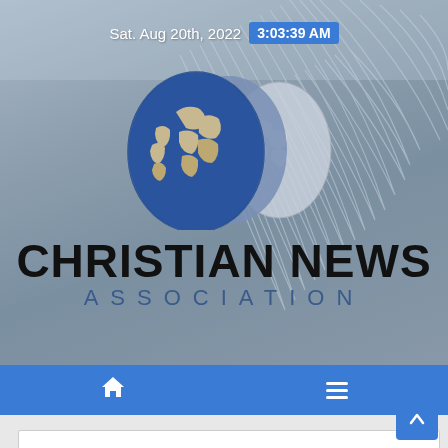Sat. Aug 20th, 2022  3:03:39 AM
[Figure (logo): Christian News Association logo with three overlapping globe icons in blue, medium blue/purple, and light grey tones]
CHRISTIAN NEWS
ASSOCIATION
[Figure (infographic): Navigation bar with home icon and hamburger menu icon on blue background]
[Figure (infographic): Scroll to top button, blue square with upward chevron, bottom right corner]